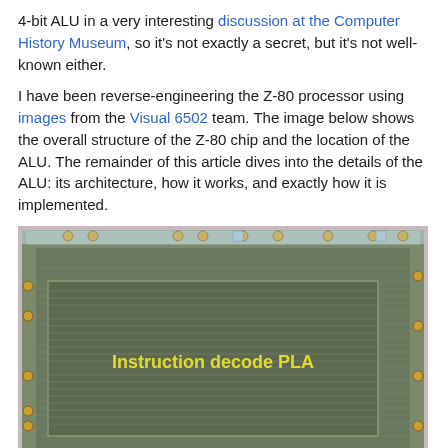4-bit ALU in a very interesting discussion at the Computer History Museum, so it's not exactly a secret, but it's not well-known either.
I have been reverse-engineering the Z-80 processor using images from the Visual 6502 team. The image below shows the overall structure of the Z-80 chip and the location of the ALU. The remainder of this article dives into the details of the ALU: its architecture, how it works, and exactly how it is implemented.
[Figure (photo): Microscope photograph of the Z-80 chip die showing the internal circuit structure. The large central region is labeled 'Instruction decode PLA' in yellow text. The chip surface shows dense interconnect patterns, metal layers, and bond pads around the perimeter.]